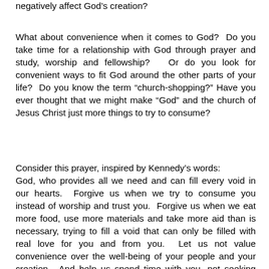negatively affect God’s creation?
What about convenience when it comes to God?  Do you take time for a relationship with God through prayer and study, worship and fellowship?   Or do you look for convenient ways to fit God around the other parts of your life?  Do you know the term “church-shopping?” Have you ever thought that we might make “God” and the church of Jesus Christ just more things to try to consume?
Consider this prayer, inspired by Kennedy’s words:
God, who provides all we need and can fill every void in our hearts.  Forgive us when we try to consume you instead of worship and trust you.  Forgive us when we eat more food, use more materials and take more aid than is necessary, trying to fill a void that can only be filled with real love for you and from you.  Let us not value convenience over the well-being of your people and your creation.  And help us spend time with you, not seeking convenience, but seeking